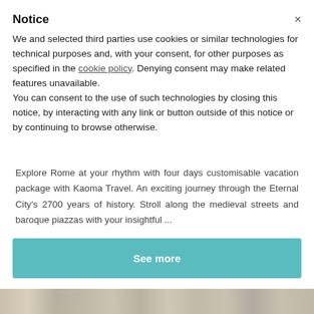Notice
We and selected third parties use cookies or similar technologies for technical purposes and, with your consent, for other purposes as specified in the cookie policy. Denying consent may make related features unavailable.
You can consent to the use of such technologies by closing this notice, by interacting with any link or button outside of this notice or by continuing to browse otherwise.
Explore Rome at your rhythm with four days customisable vacation package with Kaoma Travel. An exciting journey through the Eternal City's 2700 years of history. Stroll along the medieval streets and baroque piazzas with your insightful ...
See more
[Figure (photo): Partial view of a stone/monument photo strip at the bottom of the page]